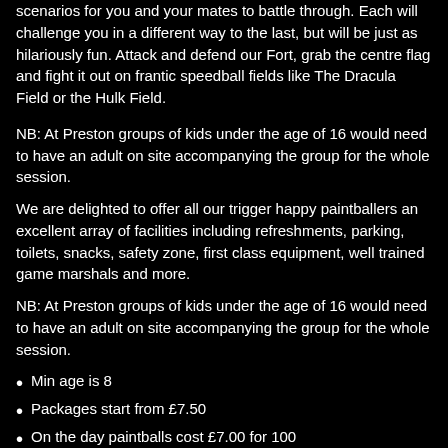scenarios for you and your mates to battle through. Each will challenge you in a different way to the last, but will be just as hilariously fun. Attack and defend our Fort, grab the centre flag and fight it out on frantic speedball fields like The Dracula Field or the Hulk Field.
NB: At Preston groups of kids under the age of 16 would need to have an adult on site accompanying the group for the whole session.
We are delighted to offer all our trigger happy paintballers an excellent array of facilities including refreshments, parking, toilets, snacks, safety zone, first class equipment, well trained game marshals and more.
NB: At Preston groups of kids under the age of 16 would need to have an adult on site accompanying the group for the whole session.
Min age is 8
Packages start from £7.50
On the day paintballs cost £7.00 for 100
All equipment is included